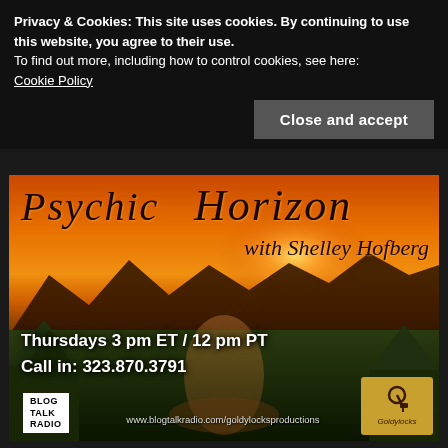Privacy & Cookies: This site uses cookies. By continuing to use this website, you agree to their use.
To find out more, including how to control cookies, see here: Cookie Policy
Close and accept
[Figure (photo): Promotional banner for 'Psychic Horizon with Shelley Hofberg' radio show. Background shows a dramatic sunset landscape with mountains, river valley, and orange-red sky. Text overlay shows show title in italic script at top, schedule 'Thursdays 3 pm ET / 12 pm PT', 'Call in: 323.870.3791', Blog Talk Radio logo, Goldylocks logo, and website URL www.blogtalkradio.com/goldylocksproductions.]